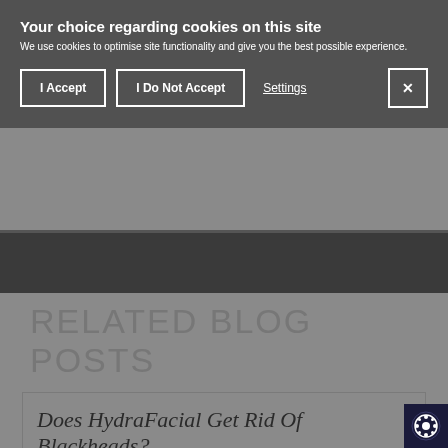Your choice regarding cookies on this site
We use cookies to optimise site functionality and give you the best possible experience.
I Accept | I Do Not Accept | Settings | X
RELATED BLOG POSTS
Does HydraFacial Get Rid Of Blackheads?
Author: Hannah Holmes
First published: 24/06/2021
Last updated: 09/02/2022
[Figure (photo): Headshot photo of author Hannah Holmes, a young woman with blonde hair, smiling]
What are blackheads? Is the HydraFacial a quick fix to eradicate these beauty bugbears and live